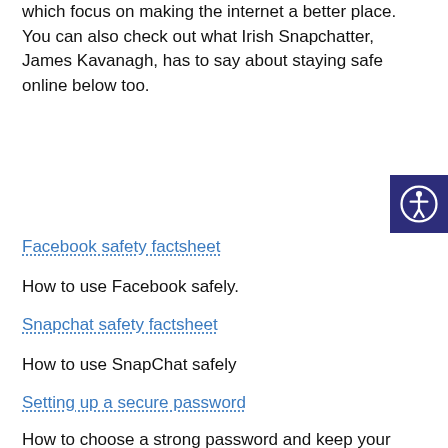which focus on making the internet a better place. You can also check out what Irish Snapchatter, James Kavanagh, has to say about staying safe online below too.
Facebook safety factsheet
How to use Facebook safely.
Snapchat safety factsheet
How to use SnapChat safely
Setting up a secure password
How to choose a strong password and keep your information safe.